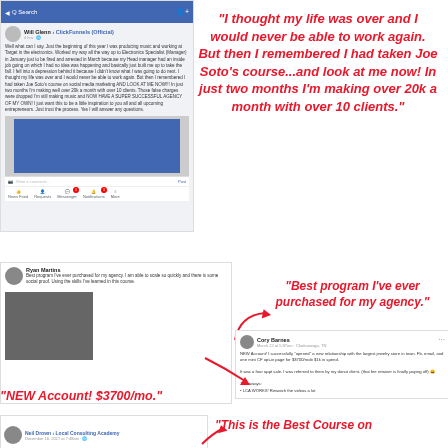[Figure (screenshot): Facebook post by Will Glenn in ClickFunnels (Official) group describing going from losing job to making over 20k/month with 10 clients using Joe Soto's course on social media marketing]
"I thought my life was over and I would never be able to work again. But then I remembered I had taken Joe Soto's course...and look at me now! In just two months I'm making over 20k a month with over 10 clients."
[Figure (screenshot): Facebook post by Ryan Martins saying best program ever purchased for his agency, with image of laptop/slides]
"Best program I've ever purchased for my agency."
[Figure (screenshot): Facebook post by Cory Barnes from Chattanooga, TN about landing new account - jewelry store for $3700/mo with $1k spend, referred by donut client, takeaway: LCA WORKS! Rewatch the videos a lot]
"NEW Account! $3700/mo."
[Figure (screenshot): Facebook post by Neil Drown in Local Consulting Academy group]
"This is the Best Course on